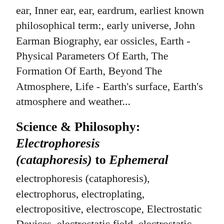ear, Inner ear, ear, eardrum, earliest known philosophical term:, early universe, John Earman Biography, ear ossicles, Earth - Physical Parameters Of Earth, The Formation Of Earth, Beyond The Atmosphere, Life - Earth's surface, Earth's atmosphere and weather...
Science & Philosophy: Electrophoresis (cataphoresis) to Ephemeral
electrophoresis (cataphoresis), electrophorus, electroplating, electropositive, electroscope, Electrostatic Devices, electrostatic field, electrostatic generator, electrostatic...